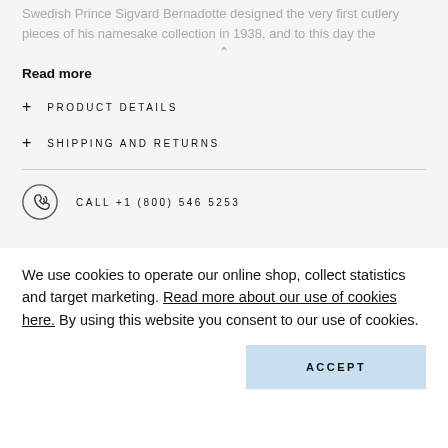Swedish Prince Sigvard Bernadotte designed the very first cutlery pieces of his namesake collection in 1938, and to this day the
Read more
+ PRODUCT DETAILS
+ SHIPPING AND RETURNS
CALL +1 (800) 546 5253
We use cookies to operate our online shop, collect statistics and target marketing. Read more about our use of cookies here. By using this website you consent to our use of cookies.
ACCEPT